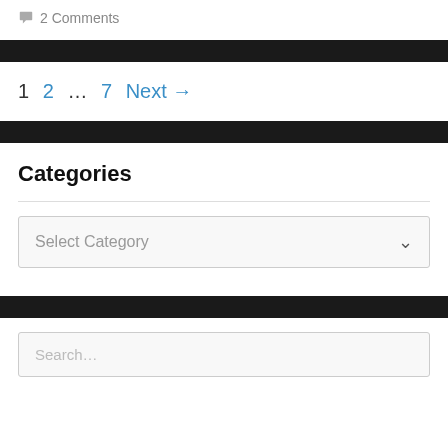2 Comments
1 2 … 7 Next →
Categories
Select Category